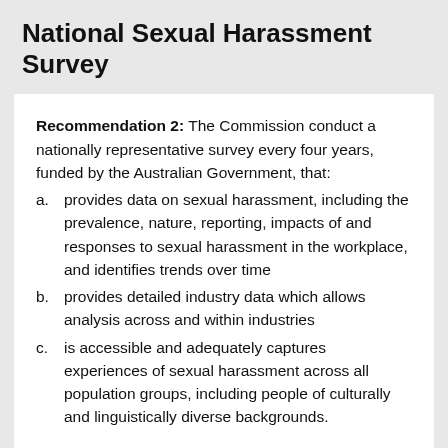National Sexual Harassment Survey
Recommendation 2: The Commission conduct a nationally representative survey every four years, funded by the Australian Government, that:
a. provides data on sexual harassment, including the prevalence, nature, reporting, impacts of and responses to sexual harassment in the workplace, and identifies trends over time
b. provides detailed industry data which allows analysis across and within industries
c. is accessible and adequately captures experiences of sexual harassment across all population groups, including people of culturally and linguistically diverse backgrounds.